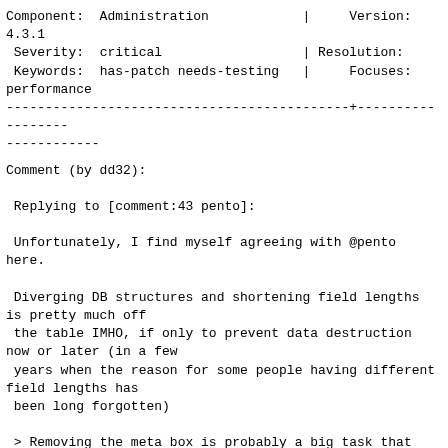| Field | Value | Field2 | Value2 |
| --- | --- | --- | --- |
| Component: | Administration | Version: | 4.3.1 |
| Severity: | critical | Resolution: |  |
| Keywords: | has-patch needs-testing | Focuses: | performance |
Comment (by dd32):

 Replying to [comment:43 pento]:

 Unfortunately, I find myself agreeing with @pento here.

 Diverging DB structures and shortening field lengths is pretty much off
 the table IMHO, if only to prevent data destruction now or later (in a few
 years when the reason for some people having different field lengths has
 been long forgotten)

 > Removing the meta box is probably a big task that will involve a lot of
 ongoing work unrelated to this particular ticket. Ultimately, that's the
 right solution, but I'm not sure if it's something we should tackle to
 solve this bug.